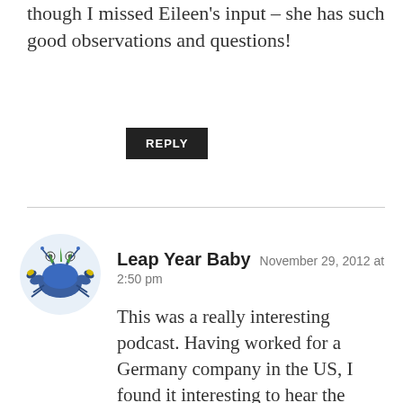though I missed Eileen's input – she has such good observations and questions!
REPLY
Leap Year Baby  November 29, 2012 at 2:50 pm
This was a really interesting podcast. Having worked for a Germany company in the US, I found it interesting to hear the difference with the communication. It didn't take long to make my business communications more direct.
I like the art work from Europe and the mixed media more than I do the scrapbooking with all the ephemera. The